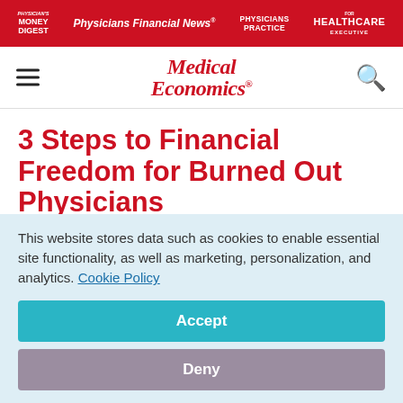Physician's Money Digest | Physicians Financial News | Physicians Practice | Healthcare Executive
[Figure (logo): Medical Economics logo in red italic serif font]
3 Steps to Financial Freedom for Burned Out Physicians
March 18, 2016
This website stores data such as cookies to enable essential site functionality, as well as marketing, personalization, and analytics. Cookie Policy
Accept
Deny